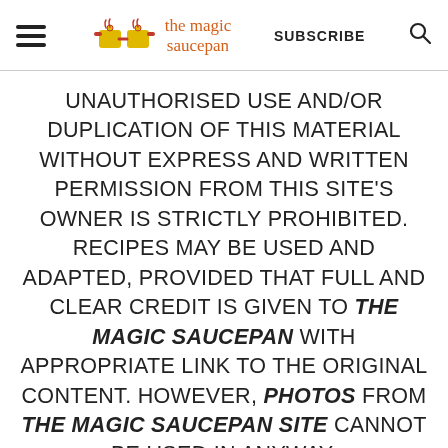the magic saucepan — SUBSCRIBE
UNAUTHORISED USE AND/OR DUPLICATION OF THIS MATERIAL WITHOUT EXPRESS AND WRITTEN PERMISSION FROM THIS SITE'S OWNER IS STRICTLY PROHIBITED. RECIPES MAY BE USED AND ADAPTED, PROVIDED THAT FULL AND CLEAR CREDIT IS GIVEN TO THE MAGIC SAUCEPAN WITH APPROPRIATE LINK TO THE ORIGINAL CONTENT. HOWEVER, PHOTOS FROM THE MAGIC SAUCEPAN SITE CANNOT BE USED IN ANYWAY.